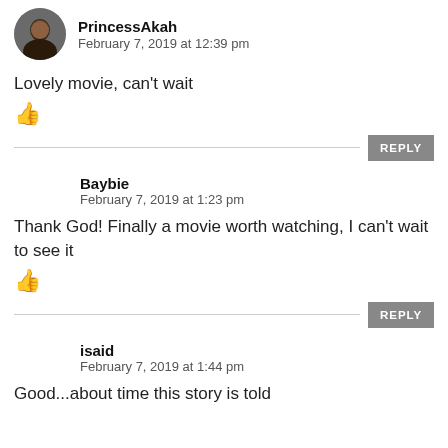[Figure (photo): Circular avatar photo of PrincessAkah, a woman]
February 7, 2019 at 12:39 pm
Lovely movie, can't wait
👍
REPLY
Baybie
February 7, 2019 at 1:23 pm
Thank God! Finally a movie worth watching, I can't wait to see it
👍
REPLY
isaid
February 7, 2019 at 1:44 pm
Good...about time this story is told